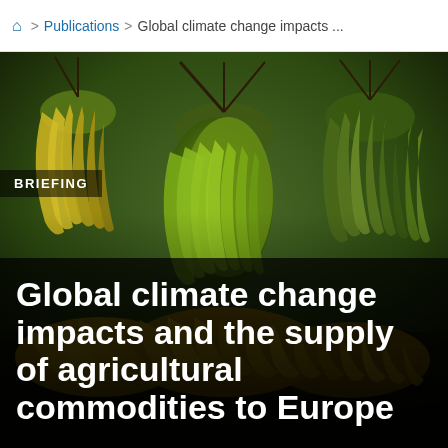🏠 > Publications > Global climate change impacts ...
[Figure (photo): Close-up photograph of bunches of green and yellow bananas hanging at a market stall, with a dark overlaid title block.]
BRIEFING
Global climate change impacts and the supply of agricultural commodities to Europe